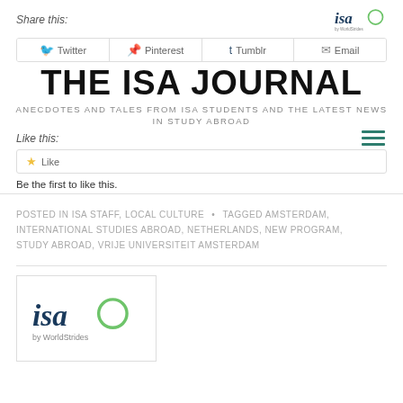Share this:
[Figure (logo): ISA by WorldStrides logo at top center]
[Figure (screenshot): Social sharing buttons row: Twitter, Pinterest, Tumblr, Email]
THE ISA JOURNAL
ANECDOTES AND TALES FROM ISA STUDENTS AND THE LATEST NEWS IN STUDY ABROAD
Like this:
[Figure (other): Hamburger menu icon with three green horizontal lines]
[Figure (screenshot): Like button with star icon]
Be the first to like this.
POSTED IN ISA STAFF, LOCAL CULTURE  •  TAGGED AMSTERDAM, INTERNATIONAL STUDIES ABROAD, NETHERLANDS, NEW PROGRAM, STUDY ABROAD, VRIJE UNIVERSITEIT AMSTERDAM
[Figure (logo): ISA by WorldStrides logo in bottom card]